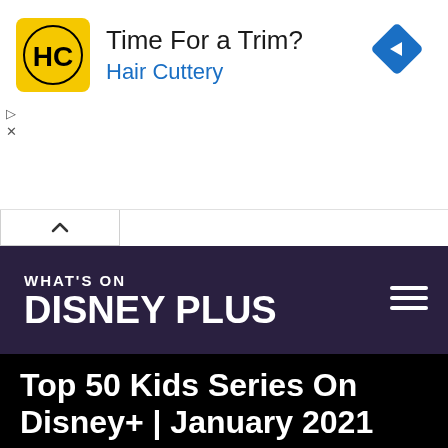[Figure (screenshot): Hair Cuttery advertisement banner with yellow logo showing HC letters, text 'Time For a Trim?' and 'Hair Cuttery' in blue, and a blue diamond navigation arrow icon on the right.]
[Figure (logo): What's On Disney Plus website header logo with dark purple background, white bold text 'WHAT'S ON' above and 'DISNEY PLUS' in large bold white text below, hamburger menu icon on right.]
Top 50 Kids Series On Disney+ | January 2021